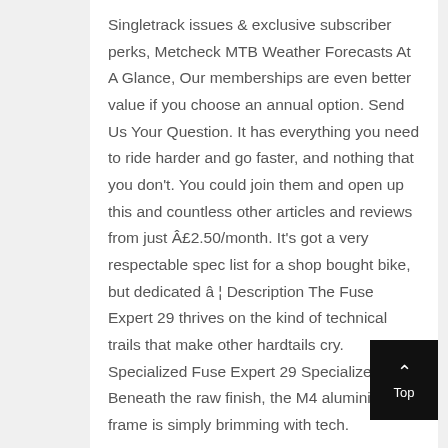Singletrack issues & exclusive subscriber perks, Metcheck MTB Weather Forecasts At A Glance, Our memberships are even better value if you choose an annual option. Send Us Your Question. It has everything you need to ride harder and go faster, and nothing that you don't. You could join them and open up this and countless other articles and reviews from just Â£2.50/month. It's got a very respectable spec list for a shop bought bike, but dedicated â¦ Description The Fuse Expert 29 thrives on the kind of technical trails that make other hardtails cry. Specialized Fuse Expert 29 Specialized. Beneath the raw finish, the M4 aluminium frame is simply brimming with tech.